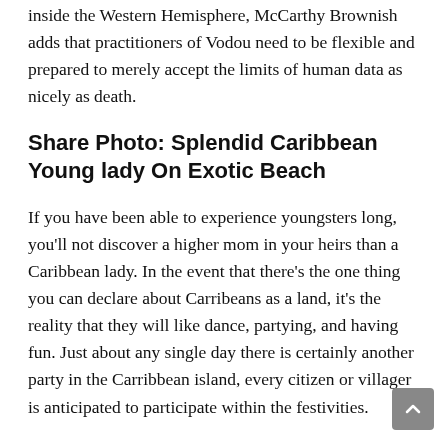inside the Western Hemisphere, McCarthy Brownish adds that practitioners of Vodou need to be flexible and prepared to merely accept the limits of human data as nicely as death.
Share Photo: Splendid Caribbean Young lady On Exotic Beach
If you have been able to experience youngsters long, you'll not discover a higher mom in your heirs than a Caribbean lady. In the event that there's the one thing you can declare about Carribeans as a land, it's the reality that they will like dance, partying, and having fun. Just about any single day there is certainly another party in the Carribbean island, every citizen or villager is anticipated to participate within the festivities.